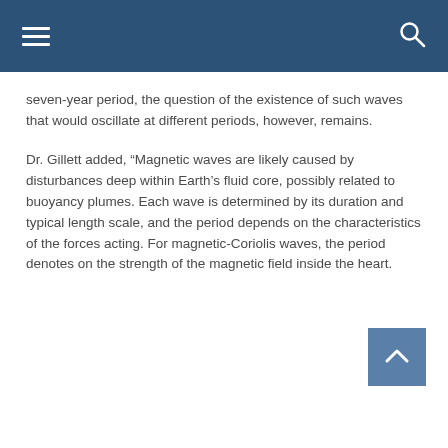Navigation bar with hamburger menu and search icon
seven-year period, the question of the existence of such waves that would oscillate at different periods, however, remains.
Dr. Gillett added, “Magnetic waves are likely caused by disturbances deep within Earth’s fluid core, possibly related to buoyancy plumes. Each wave is determined by its duration and typical length scale, and the period depends on the characteristics of the forces acting. For magnetic-Coriolis waves, the period denotes on the strength of the magnetic field inside the heart.